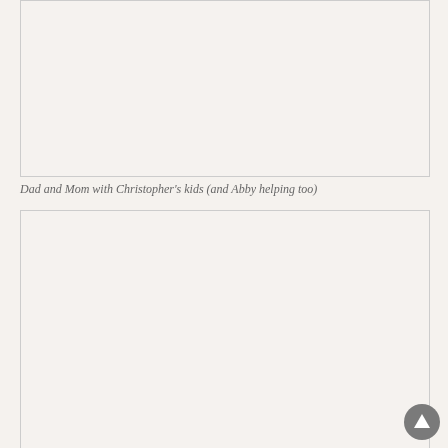[Figure (photo): A photograph placeholder — top image box, bordered rectangle with light background]
Dad and Mom with Christopher's kids (and Abby helping too)
[Figure (photo): A photograph placeholder — bottom image box, bordered rectangle with light background]